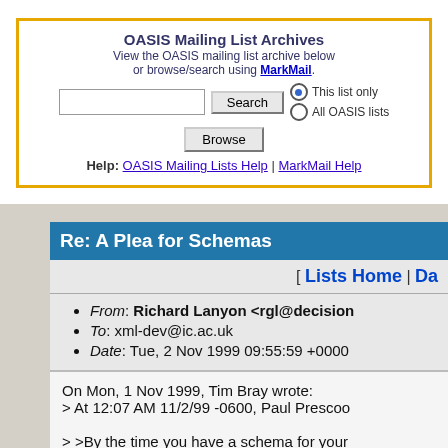OASIS Mailing List Archives
View the OASIS mailing list archive below or browse/search using MarkMail.
Help: OASIS Mailing Lists Help | MarkMail Help
Re: A Plea for Schemas
[ Lists Home | Da...
From: Richard Lanyon <rgl@decision...
To: xml-dev@ic.ac.uk
Date: Tue, 2 Nov 1999 09:55:59 +0000
On Mon, 1 Nov 1999, Tim Bray wrote:
> At 12:07 AM 11/2/99 -0600, Paul Prescoo...

> >By the time you have a schema for your...